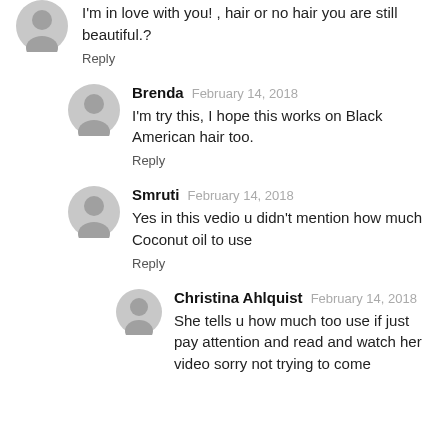I'm in love with you! , hair or no hair you are still beautiful.?
Reply
Brenda  February 14, 2018
I'm try this, I hope this works on Black American hair too.
Reply
Smruti  February 14, 2018
Yes in this vedio u didn't mention how much Coconut oil to use
Reply
Christina Ahlquist  February 14, 2018
She tells u how much too use if just pay attention and read and watch her video sorry not trying to come